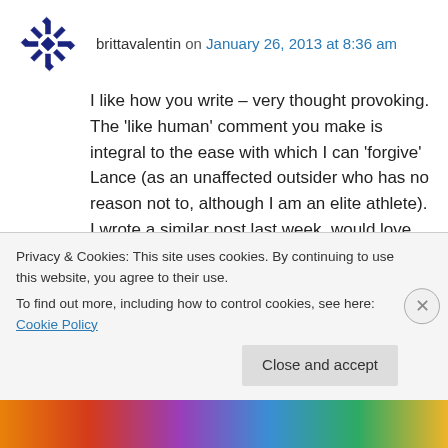brittavalentin on January 26, 2013 at 8:36 am
I like how you write – very thought provoking. The 'like human' comment you make is integral to the ease with which I can 'forgive' Lance (as an unaffected outsider who has no reason not to, although I am an elite athlete). I wrote a similar post last week, would love you to read and voice thoughts:
http://brittavalentin.wordpress.com/2013/01/21/about-lance-and-living/
Privacy & Cookies: This site uses cookies. By continuing to use this website, you agree to their use.
To find out more, including how to control cookies, see here: Cookie Policy